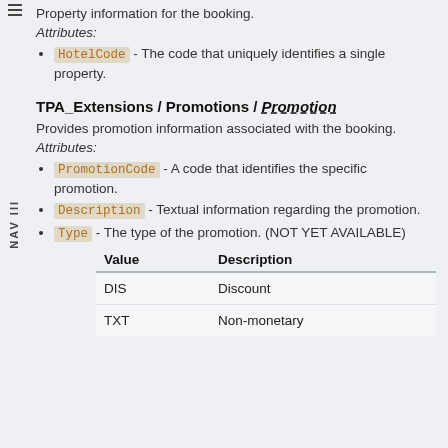Property information for the booking.
Attributes:
HotelCode - The code that uniquely identifies a single property.
TPA_Extensions / Promotions / Promotion
Provides promotion information associated with the booking.
Attributes:
PromotionCode - A code that identifies the specific promotion.
Description - Textual information regarding the promotion.
Type - The type of the promotion. (NOT YET AVAILABLE)
| Value | Description |
| --- | --- |
| DIS | Discount |
| TXT | Non-monetary |